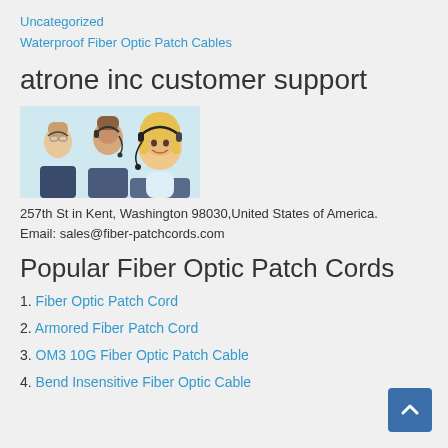Uncategorized
Waterproof Fiber Optic Patch Cables
atrone inc customer support
[Figure (photo): Customer support team photo: three people wearing headsets, smiling]
257th St in Kent, Washington 98030,United States of America.
Email: sales@fiber-patchcords.com
Popular Fiber Optic Patch Cords
1. Fiber Optic Patch Cord
2. Armored Fiber Patch Cord
3. OM3 10G Fiber Optic Patch Cable
4. [Bend Insensitive Fiber Optic Cable - partially visible]